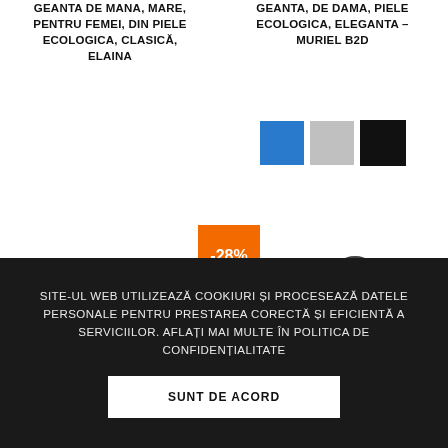GEANTA DE MANA, MARE, PENTRU FEMEI, DIN PIELE ECOLOGICA, CLASICĂ, ELAINA
GEANTA, DE DAMA, PIELE ECOLOGICA, ELEGANTA – MURIEL B2D
[Figure (illustration): Three color swatches: blue, gray, and black (selected with bold border)]
[Figure (photo): Discount badge showing -28% in orange, left product bag (pink/mauve handbag), right product bag (black handbag)]
SITE-UL WEB UTILIZEAZĂ COOKIURI ȘI PROCESEAZĂ DATELE PERSONALE PENTRU PRESTAREA CORECTĂ ȘI EFICIENTĂ A SERVICIILOR. AFLAȚI MAI MULTE ÎN POLITICA DE CONFIDENȚIALITATE
SUNT DE ACORD